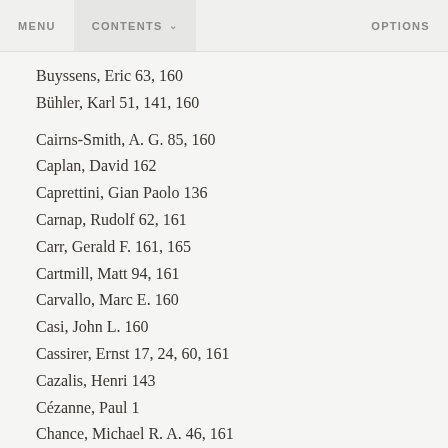MENU   CONTENTS   OPTIONS
Buyssens, Eric 63, 160
Bühler, Karl 51, 141, 160
Cairns-Smith, A. G. 85, 160
Caplan, David 162
Caprettini, Gian Paolo 136
Carnap, Rudolf 62, 161
Carr, Gerald F. 161, 165
Cartmill, Matt 94, 161
Carvallo, Marc E. 160
Casi, John L. 160
Cassirer, Ernst 17, 24, 60, 161
Cazalis, Henri 143
Cézanne, Paul 1
Chance, Michael R. A. 46, 161